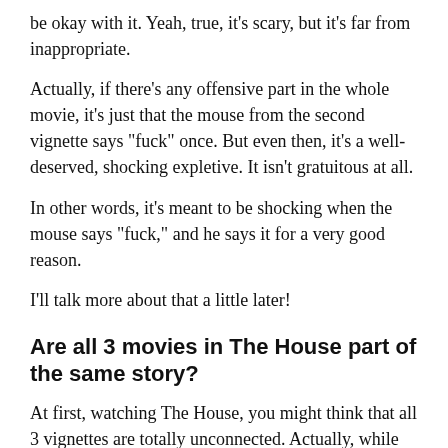be okay with it. Yeah, true, it's scary, but it's far from inappropriate.
Actually, if there's any offensive part in the whole movie, it's just that the mouse from the second vignette says "fuck" once. But even then, it's a well-deserved, shocking expletive. It isn't gratuitous at all.
In other words, it's meant to be shocking when the mouse says "fuck," and he says it for a very good reason.
I'll talk more about that a little later!
Are all 3 movies in The House part of the same story?
At first, watching The House, you might think that all 3 vignettes are totally unconnected. Actually, while watching it with my friend, a little ways into the second vignette, I noticed some architecture that looked somehow eerily familiar. That was when I asked my friend –